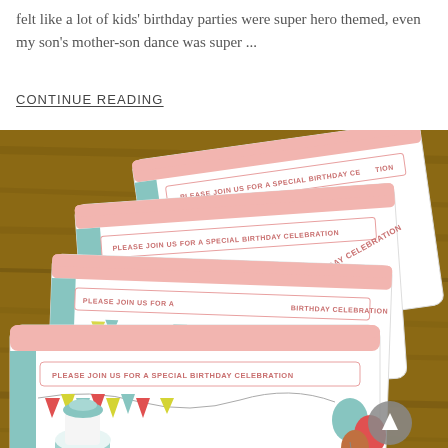felt like a lot of kids' birthday parties were super hero themed, even my son's mother-son dance was super ...
CONTINUE READING
[Figure (photo): Photo of four birthday party invitation cards fanned out on a wooden table. Each card reads 'PLEASE JOIN US FOR A SPECIAL BIRTHDAY CELEBRATION' with colorful bunting flags and birthday imagery including balloons, cupcakes, and pennant banners in teal, red, green, and yellow colors.]